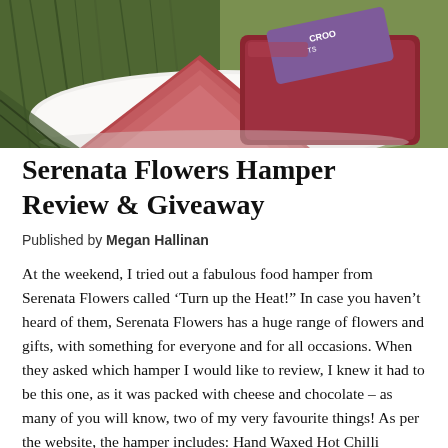[Figure (photo): Photo of food items on a white plate with green rosemary in the background — includes wedge-shaped red/pink cheese and a packaged item with purple label reading 'Croots' — shot outdoors on grass.]
Serenata Flowers Hamper Review & Giveaway
Published by Megan Hallinan
At the weekend, I tried out a fabulous food hamper from Serenata Flowers called ‘Turn up the Heat!” In case you haven’t heard of them, Serenata Flowers has a huge range of flowers and gifts, with something for everyone and for all occasions. When they asked which hamper I would like to review, I knew it had to be this one, as it was packed with cheese and chocolate – as many of you will know, two of my very favourite things! As per the website, the hamper includes: Hand Waxed Hot Chilli